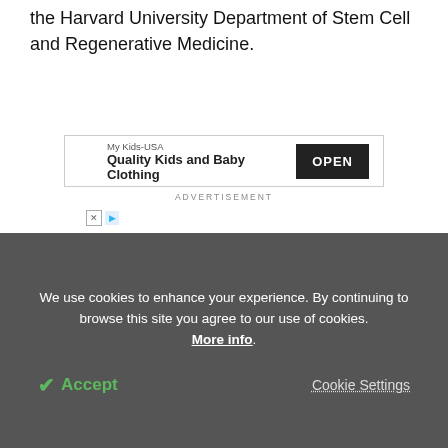the Harvard University Department of Stem Cell and Regenerative Medicine.
[Figure (other): Advertisement banner for My Kids-USA Quality Kids and Baby Clothing with an OPEN button]
Source:
Massachusetts General Hospital
Be the first to rate this article
We use cookies to enhance your experience. By continuing to browse this site you agree to our use of cookies. More info.
✓ Accept   Cookie Settings